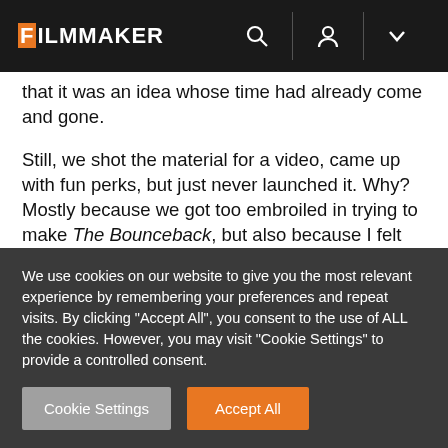FILMMAKER
that it was an idea whose time had already come and gone.
Still, we shot the material for a video, came up with fun perks, but just never launched it. Why? Mostly because we got too embroiled in trying to make The Bounceback, but also because I felt kind of sheepish about going out to the community with my pockets turned out. I didn't want to beg. I told myself we could always launch it down the
We use cookies on our website to give you the most relevant experience by remembering your preferences and repeat visits. By clicking "Accept All", you consent to the use of ALL the cookies. However, you may visit "Cookie Settings" to provide a controlled consent.
Cookie Settings
Accept All